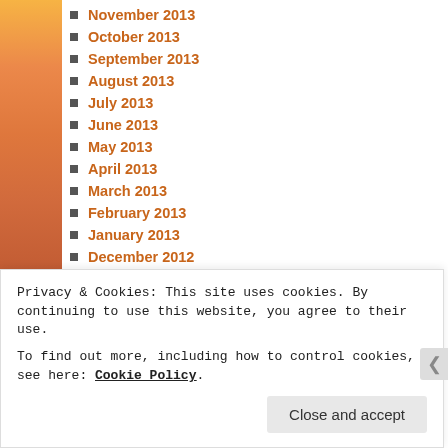November 2013
October 2013
September 2013
August 2013
July 2013
June 2013
May 2013
April 2013
March 2013
February 2013
January 2013
December 2012
November 2012
October 2012
Privacy & Cookies: This site uses cookies. By continuing to use this website, you agree to their use. To find out more, including how to control cookies, see here: Cookie Policy